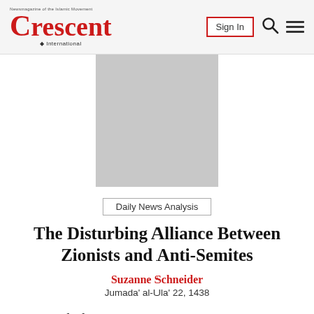Crescent International — Sign In
[Figure (photo): Gray placeholder image rectangle centered on page]
Daily News Analysis
The Disturbing Alliance Between Zionists and Anti-Semites
Suzanne Schneider
Jumada' al-Ula' 22, 1438
Jewish life flourishes in pluralistic societies within which difference is not a “problem” to be resolved, but a fact to be celebrated. The alliance of right-wing Zionists and the alt-right should not